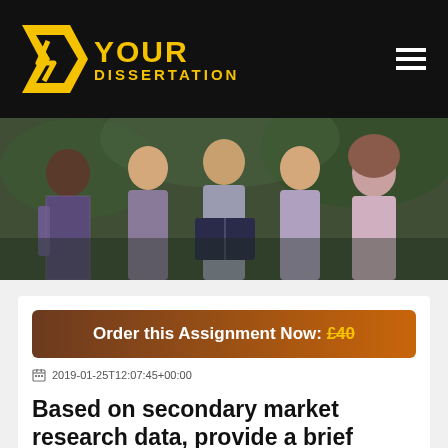YOUR DISSERTATION
[Figure (photo): Group of five diverse university students sitting together outdoors, looking at and discussing a book, smiling]
Order this Assignment Now: £40
2019-01-25T12:07:45+00:00
Based on secondary market research data, provide a brief